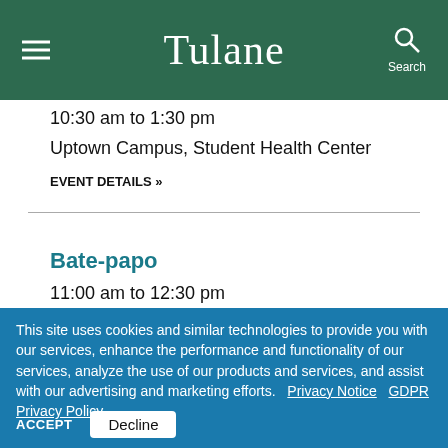Tulane
10:30 am to 1:30 pm
Uptown Campus, Student Health Center
EVENT DETAILS »
Bate-papo
11:00 am to 12:30 pm
This site uses cookies and similar technologies to provide you with our services, enhance the performance and functionality of our services, analyze the use of our products and services, and assist with our advertising and marketing efforts.  Privacy Notice   GDPR Privacy Policy
ACCEPT   Decline